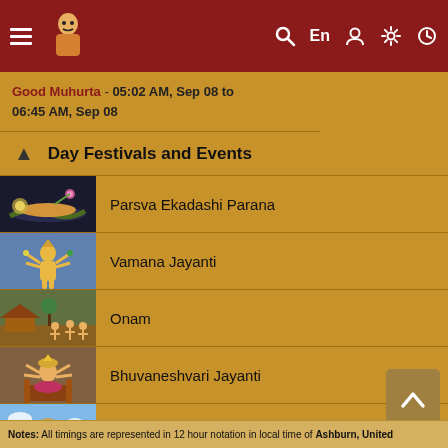Navigation bar with hamburger menu, logo, search, En, user, settings, clock icons
Good Muhurta - 05:02 AM, Sep 08 to 06:45 AM, Sep 08
Day Festivals and Events
Parsva Ekadashi Parana
Vamana Jayanti
Onam
Bhuvaneshvari Jayanti
Pradosh Vrat
Notes: All timings are represented in 12 hour notation in local time of Ashburn, United